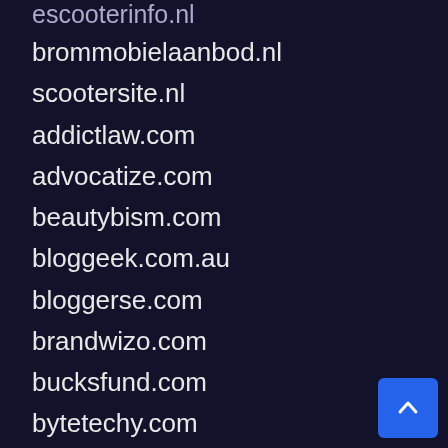escooterinfo.nl
brommobielaanbod.nl
scootersite.nl
addictlaw.com
advocatize.com
beautybism.com
bloggeek.com.au
bloggerse.com
brandwizo.com
bucksfund.com
bytetechy.com
dealsoncart.com
droidific.com
economydiva.com
homezlog.com
houseparty.com